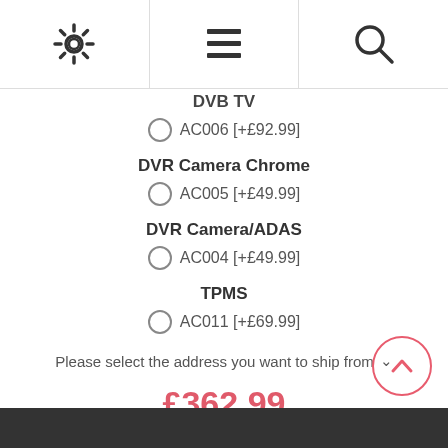[Figure (screenshot): Top navigation bar with gear/settings icon, hamburger menu icon, and search icon]
DVB TV
AC006 [+£92.99]
DVR Camera Chrome
AC005 [+£49.99]
DVR Camera/ADAS
AC004 [+£49.99]
TPMS
AC011 [+£69.99]
Please select the address you want to ship from
£362.99
1   Add to cart
+ 0